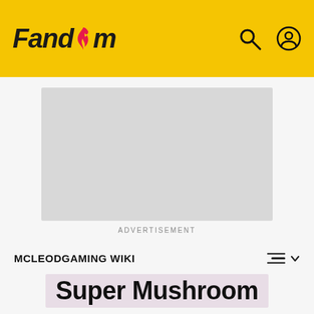Fandom
[Figure (other): Gray advertisement placeholder rectangle]
ADVERTISEMENT
MCLEODGAMING WIKI
Super Mushroom
Super Mushroom
[Figure (other): Image placeholder box with photo icon]